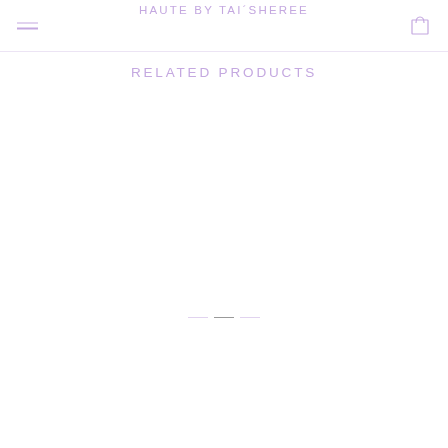HAUTE BY TAI'SHEREE
RELATED PRODUCTS
[Figure (other): Product image grid area (mostly empty/white) for related products section with carousel navigation dots at bottom]